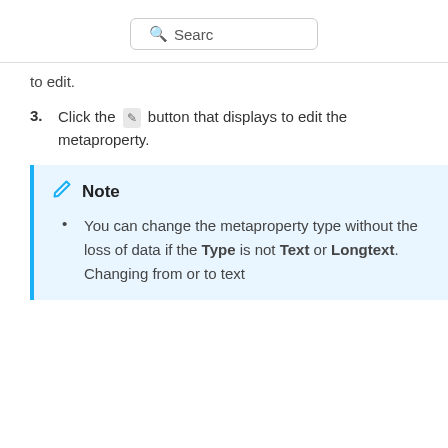Search
to edit.
Click the [pencil] button that displays to edit the metaproperty.
Note
You can change the metaproperty type without the loss of data if the Type is not Text or Longtext. Changing from or to text